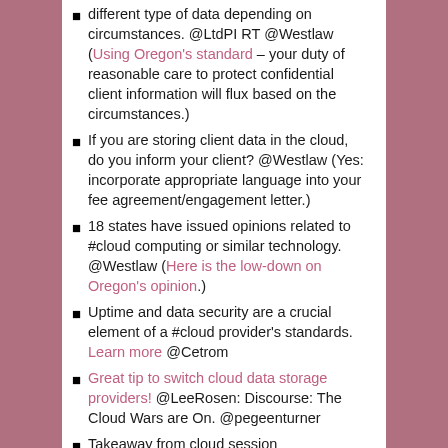different type of data depending on circumstances. @LtdPI RT @Westlaw (Using Oregon's standard – your duty of reasonable care to protect confidential client information will flux based on the circumstances.)
If you are storing client data in the cloud, do you inform your client? @Westlaw (Yes: incorporate appropriate language into your fee agreement/engagement letter.)
18 states have issued opinions related to #cloud computing or similar technology. @Westlaw (Here is the low-down on Oregon's opinion.)
Uptime and data security are a crucial element of a #cloud provider's standards. Learn more @Cetrom
Great tip to switch cloud data storage providers! @LeeRosen: Discourse: The Cloud Wars are On. @pegeenturner
Takeaway from cloud session #ABATECHSHOW: continuing requirement to stay informed on cloud tech. @Westlaw (From Oregon's opinion:  "As technology advances, the third-party vendor's protective measures may become less secure or